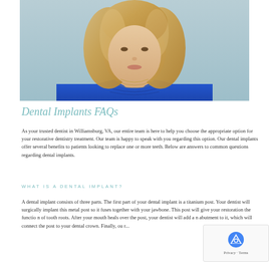[Figure (photo): Portrait photo of a woman with blonde wavy hair wearing a blue top with necklace, against a light teal/gray background. Only head, neck and upper chest visible.]
Dental Implants FAQs
As your trusted dentist in Williamsburg, VA, our entire team is here to help you choose the appropriate option for your restorative dentistry treatment. Our team is happy to speak with you regarding this option. Our dental implants offer several benefits to patients looking to replace one or more teeth. Below are answers to common questions regarding dental implants.
WHAT IS A DENTAL IMPLANT?
A dental implant consists of three parts. The first part of your dental implant is a titanium post. Your dentist will surgically implant this metal post so it fuses together with your jawbone. This post will give your restoration the function of tooth roots. After your mouth heals over the post, your dentist will add an abutment to it, which will connect the post to your dental crown. Finally, our...